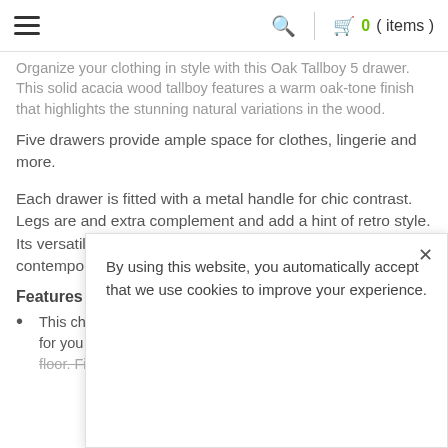☰  🔍  |  🛒 0 ( items )
Organize your clothing in style with this Oak Tallboy 5 drawer. This solid acacia wood tallboy features a warm oak-tone finish that highlights the stunning natural variations in the wood.
Five drawers provide ample space for clothes, lingerie and more.
Each drawer is fitted with a metal handle for chic contrast. Legs are and extra complement and add a hint of retro style. Its versatile design makes it well suited for both contemporary and vintage-inspired interiors.
Features :
This chest is designed with your convenience in mind for you ... floor. Five drawers sit on sturdy metal roller
By using this website, you automatically accept that we use cookies to improve your experience.